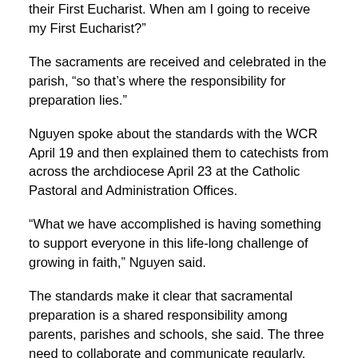their First Eucharist. When am I going to receive my First Eucharist?"
The sacraments are received and celebrated in the parish, "so that's where the responsibility for preparation lies."
Nguyen spoke about the standards with the WCR April 19 and then explained them to catechists from across the archdiocese April 23 at the Catholic Pastoral and Administration Offices.
"What we have accomplished is having something to support everyone in this life-long challenge of growing in faith," Nguyen said.
The standards make it clear that sacramental preparation is a shared responsibility among parents, parishes and schools, she said. The three need to collaborate and communicate regularly.
First Reconciliation and First Eucharist now take place when children are seven to eight years old and in Grade 2.
"That's a shift for some parishes because sometimes they were separating those sacraments. They would have Reconciliation in Grade 2 and then Eucharist in Grade 3,"